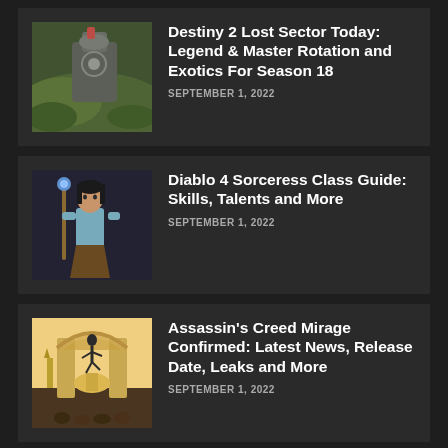[Figure (photo): Game screenshot showing a character near a large mechanical structure in a green environment]
Destiny 2 Lost Sector Today: Legend & Master Rotation and Exotics For Season 18
SEPTEMBER 1, 2022
[Figure (photo): Character artwork of a sorceress holding a staff, wearing blue and brown outfit]
Diablo 4 Sorceress Class Guide: Skills, Talents and More
SEPTEMBER 1, 2022
[Figure (photo): Assassin's Creed Mirage artwork showing an assassin leaping over an ornate archway in a Middle Eastern city]
Assassin's Creed Mirage Confirmed: Latest News, Release Date, Leaks and More
SEPTEMBER 1, 2022